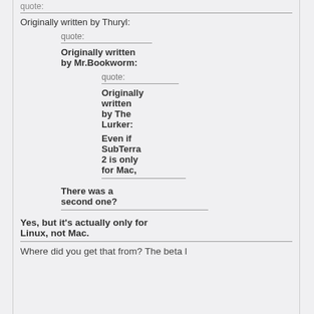quote:
Originally written by Thuryl:
quote:
Originally written by Mr.Bookworm:
quote:
Originally written by The Lurker:
Even if SubTerra 2 is only for Mac,
There was a second one?
Yes, but it's actually only for Linux, not Mac.
Where did you get that from? The beta l